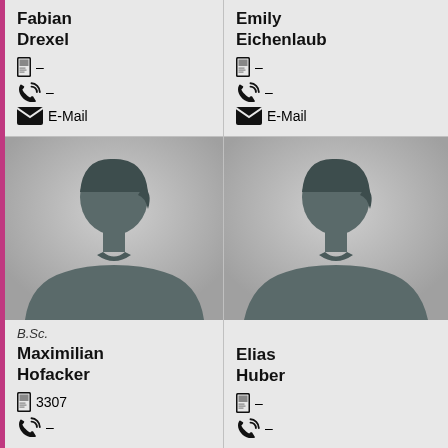Fabian Drexel
🪪 –
☎ –
E-Mail
Emily Eichenlaub
🪪 –
☎ –
E-Mail
[Figure (photo): Generic male silhouette placeholder photo for Maximilian Hofacker]
[Figure (photo): Generic male silhouette placeholder photo for Elias Huber]
B.Sc.
Maximilian Hofacker
🪪 3307
☎ –
Elias Huber
🪪 –
☎ –